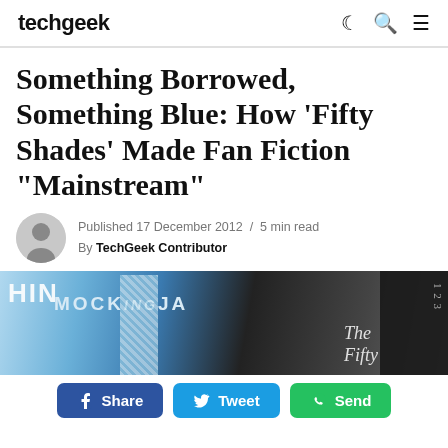techgeek
Something Borrowed, Something Blue: How 'Fifty Shades' Made Fan Fiction "Mainstream"
Published 17 December 2012 / 5 min read
By TechGeek Contributor
[Figure (photo): Photo of book covers including Mockingjay and Fifty Shades of Grey placed together on a surface.]
Share  Tweet  Send